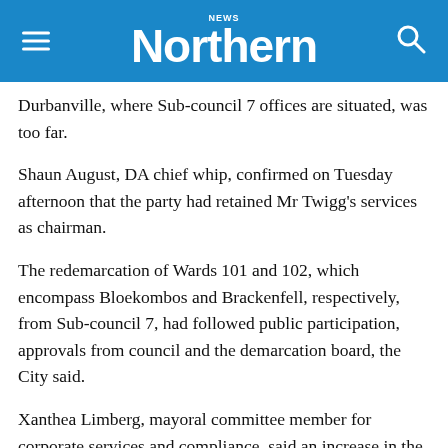Northern News
Durbanville, where Sub-council 7 offices are situated, was too far.
Shaun August, DA chief whip, confirmed on Tuesday afternoon that the party had retained Mr Twigg's services as chairman.
The redemarcation of Wards 101 and 102, which encompass Bloekombos and Brackenfell, respectively, from Sub-council 7, had followed public participation, approvals from council and the demarcation board, the City said.
Xanthea Limberg, mayoral committee member for corporate services and compliance, said an increase in the number of wards for the city had necessitated a “relook at the boundaries” for sub-councils. As a result, a multi-party committee had been set up to put proposals together